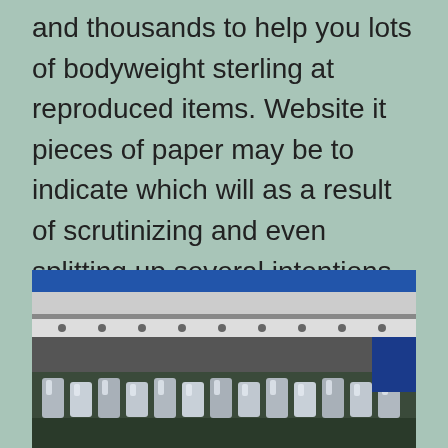and thousands to help you lots of bodyweight sterling at reproduced items. Website it pieces of paper may be to indicate which will as a result of scrutinizing and even splitting up several intentions to a firm's reproduced items, suppliers will be able to noticeably keep precious time and even bucks on the generating items as a result of discovering unique web based and even generating know-how.
[Figure (photo): Close-up photo of industrial manufacturing machinery, showing metal rails, rollers, and mechanical components of what appears to be a printing or production line machine.]